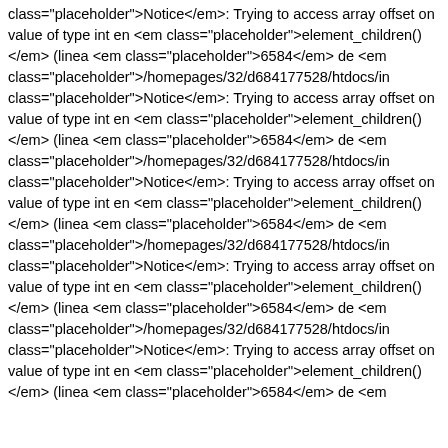class=&quot;placeholder&quot;&gt;Notice&lt;/em&gt;: Trying to access array offset on value of type int en &lt;em class=&quot;placeholder&quot;&gt;element_children()&lt;/em&gt; (linea &lt;em class=&quot;placeholder&quot;&gt;6584&lt;/em&gt; de &lt;em class=&quot;placeholder&quot;&gt;/homepages/32/d684177528/htdocs/in class=&quot;placeholder&quot;&gt;Notice&lt;/em&gt;: Trying to access array offset on value of type int en &lt;em class=&quot;placeholder&quot;&gt;element_children()&lt;/em&gt; (linea &lt;em class=&quot;placeholder&quot;&gt;6584&lt;/em&gt; de &lt;em class=&quot;placeholder&quot;&gt;/homepages/32/d684177528/htdocs/in class=&quot;placeholder&quot;&gt;Notice&lt;/em&gt;: Trying to access array offset on value of type int en &lt;em class=&quot;placeholder&quot;&gt;element_children()&lt;/em&gt; (linea &lt;em class=&quot;placeholder&quot;&gt;6584&lt;/em&gt; de &lt;em class=&quot;placeholder&quot;&gt;/homepages/32/d684177528/htdocs/in class=&quot;placeholder&quot;&gt;Notice&lt;/em&gt;: Trying to access array offset on value of type int en &lt;em class=&quot;placeholder&quot;&gt;element_children()&lt;/em&gt; (linea &lt;em class=&quot;placeholder&quot;&gt;6584&lt;/em&gt; de &lt;em class=&quot;placeholder&quot;&gt;/homepages/32/d684177528/htdocs/in class=&quot;placeholder&quot;&gt;Notice&lt;/em&gt;: Trying to access array offset on value of type int en &lt;em class=&quot;placeholder&quot;&gt;element_children()&lt;/em&gt; (linea &lt;em class=&quot;placeholder&quot;&gt;6584&lt;/em&gt; de &lt;em